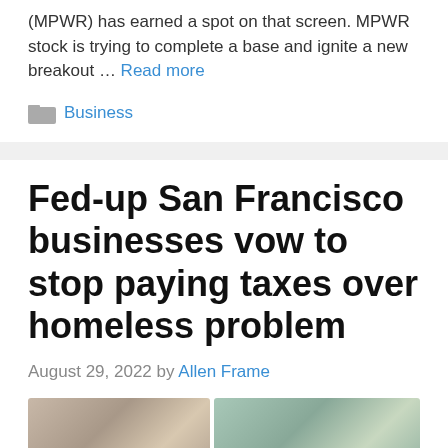(MPWR) has earned a spot on that screen. MPWR stock is trying to complete a base and ignite a new breakout … Read more
Business
Fed-up San Francisco businesses vow to stop paying taxes over homeless problem
August 29, 2022 by Allen Frame
[Figure (photo): Two side-by-side photos of San Francisco street scenes related to the homeless problem article]